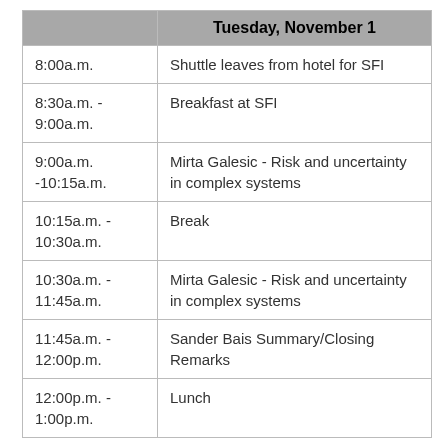|  | Tuesday, November 1 |
| --- | --- |
| 8:00a.m. | Shuttle leaves from hotel for SFI |
| 8:30a.m. -
9:00a.m. | Breakfast at SFI |
| 9:00a.m. -10:15a.m. | Mirta Galesic - Risk and uncertainty in complex systems |
| 10:15a.m. -
10:30a.m. | Break |
| 10:30a.m. -
11:45a.m. | Mirta Galesic - Risk and uncertainty in complex systems |
| 11:45a.m. -
12:00p.m. | Sander Bais Summary/Closing Remarks |
| 12:00p.m. -
1:00p.m. | Lunch |